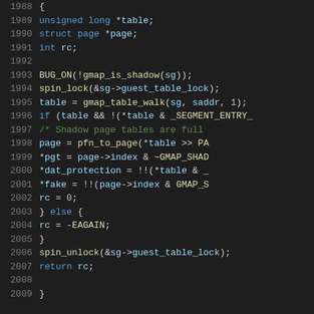[Figure (screenshot): Source code listing showing C code with syntax highlighting. Lines 1988-2009 showing a function body with variable declarations, BUG_ON, spin_lock, gmap_table_walk, conditional logic, pfn_to_page, spin_unlock, and return statements. Dark background IDE-style code view.]